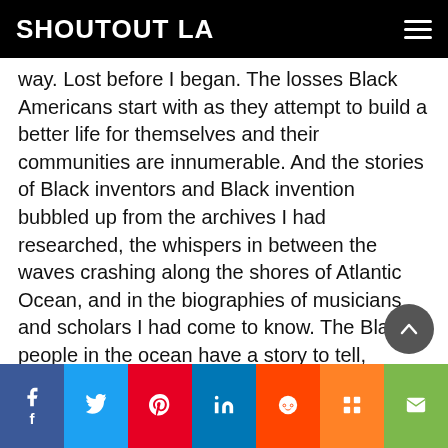SHOUTOUT LA
way. Lost before I began. The losses Black Americans start with as they attempt to build a better life for themselves and their communities are innumerable. And the stories of Black inventors and Black invention bubbled up from the archives I had researched, the whispers in between the waves crashing along the shores of Atlantic Ocean, and in the biographies of musicians and scholars I had come to know. The Black people in the ocean have a story to tell, etched into the tides echoing out into the endless sea singing, screaming, crying, laughing, and recalling the long legacy of the middle passage, the triangle…